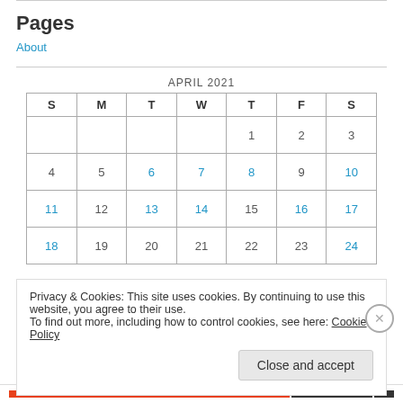Pages
About
| S | M | T | W | T | F | S |
| --- | --- | --- | --- | --- | --- | --- |
|  |  |  |  | 1 | 2 | 3 |
| 4 | 5 | 6 | 7 | 8 | 9 | 10 |
| 11 | 12 | 13 | 14 | 15 | 16 | 17 |
| 18 | 19 | 20 | 21 | 22 | 23 | 24 |
Privacy & Cookies: This site uses cookies. By continuing to use this website, you agree to their use.
To find out more, including how to control cookies, see here: Cookie Policy
Close and accept